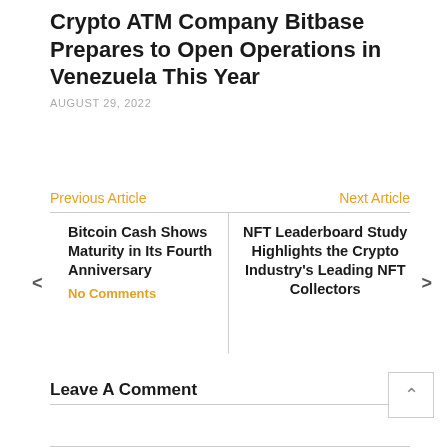Crypto ATM Company Bitbase Prepares to Open Operations in Venezuela This Year
AUGUST 29, 2022
Previous Article
Next Article
Bitcoin Cash Shows Maturity in Its Fourth Anniversary
NFT Leaderboard Study Highlights the Crypto Industry's Leading NFT Collectors
No Comments
Leave A Comment